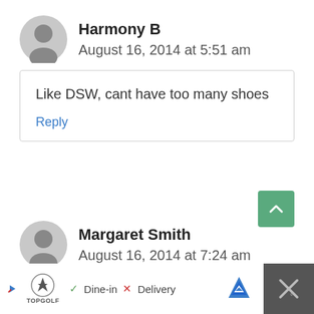Harmony B
August 16, 2014 at 5:51 am
Like DSW, cant have too many shoes
Reply
Margaret Smith
August 16, 2014 at 7:24 am
[Figure (other): Scroll to top green button with upward chevron]
[Figure (other): Advertisement bar: Topgolf logo, Dine-in checkmark, Delivery X, map arrow icon, close X button]